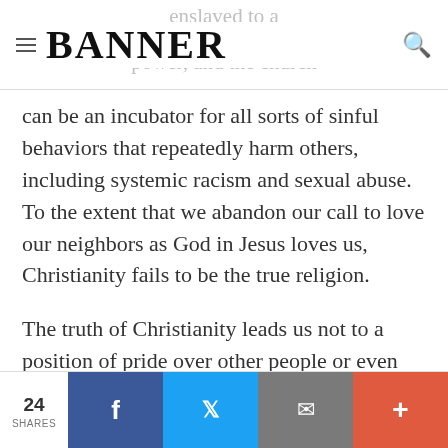BANNER
can be an incubator for all sorts of sinful behaviors that repeatedly harm others, including systemic racism and sexual abuse. To the extent that we abandon our call to love our neighbors as God in Jesus loves us, Christianity fails to be the true religion.
The truth of Christianity leads us not to a position of pride over other people or even other religions. Rather, we are called into a humble way of life that seeks to embody
24 SHARES  [Facebook] [Twitter] [Email] [+]